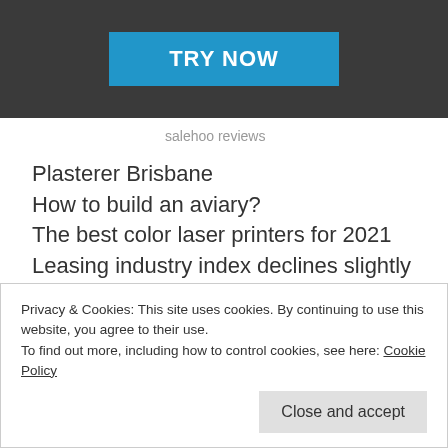[Figure (screenshot): Dark banner with a blue 'TRY NOW' button centered on it]
salehoo reviews
Plasterer Brisbane
How to build an aviary?
The best color laser printers for 2021
Leasing industry index declines slightly from June, but
up close to 9% year to date
Privacy & Cookies: This site uses cookies. By continuing to use this website, you agree to their use.
To find out more, including how to control cookies, see here: Cookie Policy
Close and accept